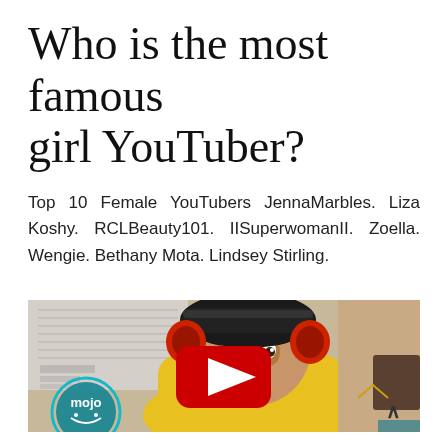Who is the most famous girl YouTuber?
Top 10 Female YouTubers JennaMarbles. Liza Koshy. RCLBeauty101. IISuperwomanII. Zoella. Wengie. Bethany Mota. Lindsey Stirling.
[Figure (screenshot): YouTube video thumbnail showing a person in a yellow hazmat suit and red ear protection, with a YouTube play button overlay. WatchMojo logo visible in the bottom left corner.]